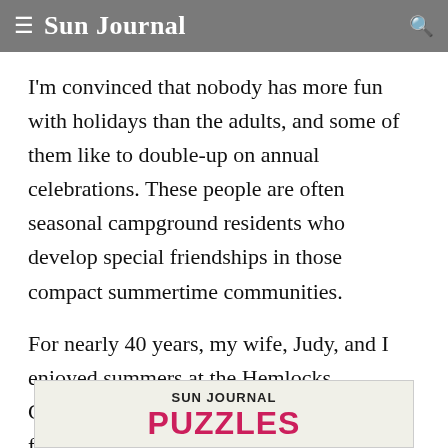≡ Sun Journal 🔍
I'm convinced that nobody has more fun with holidays than the adults, and some of them like to double-up on annual celebrations. These people are often seasonal campground residents who develop special friendships in those compact summertime communities.
For nearly 40 years, my wife, Judy, and I enjoyed summers at the Hemlocks Campground on Tripp Lake in Poland. Her father, Cleba Spofford, was
[Figure (other): Sun Journal Puzzles advertisement banner]